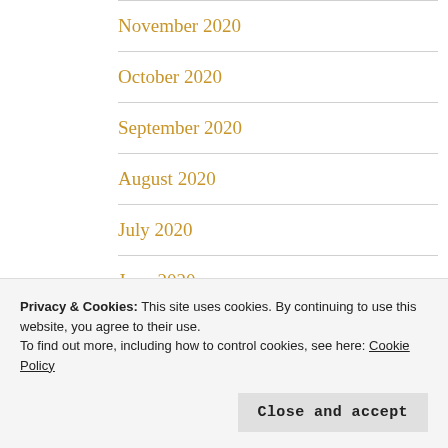November 2020
October 2020
September 2020
August 2020
July 2020
June 2020
May 2020
January 2020
Privacy & Cookies: This site uses cookies. By continuing to use this website, you agree to their use.
To find out more, including how to control cookies, see here: Cookie Policy
Close and accept